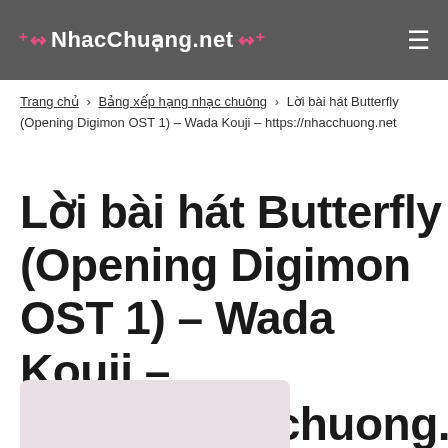NhacChuong.net
Trang chủ > Bảng xếp hạng nhạc chuông > Lời bài hát Butterfly (Opening Digimon OST 1) – Wada Kouji – https://nhacchuong.net
Lời bài hát Butterfly (Opening Digimon OST 1) – Wada Kouji – https://nhacchuong.net
[Figure (other): Partial image thumbnail at bottom of page]